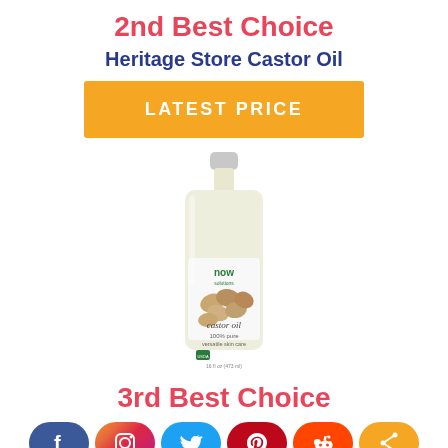2nd Best Choice
Heritage Store Castor Oil
LATEST PRICE
[Figure (photo): Bottle of Now Solutions Castor Oil 100% pure versatile skin care product]
3rd Best Choice
[Figure (infographic): Social media share buttons: Facebook, Instagram, Twitter, Pinterest, Reddit, Share]